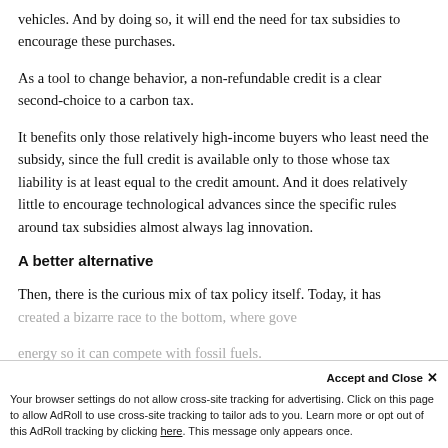vehicles. And by doing so, it will end the need for tax subsidies to encourage these purchases.
As a tool to change behavior, a non-refundable credit is a clear second-choice to a carbon tax.
It benefits only those relatively high-income buyers who least need the subsidy, since the full credit is available only to those whose tax liability is at least equal to the credit amount. And it does relatively little to encourage technological advances since the specific rules around tax subsidies almost always lag innovation.
A better alternative
Then, there is the curious mix of tax policy itself. Today, it has created a bizarre race to the bottom, where gove... energy so it can compete with fossil fuels.
Accept and Close ×
Your browser settings do not allow cross-site tracking for advertising. Click on this page to allow AdRoll to use cross-site tracking to tailor ads to you. Learn more or opt out of this AdRoll tracking by clicking here. This message only appears once.